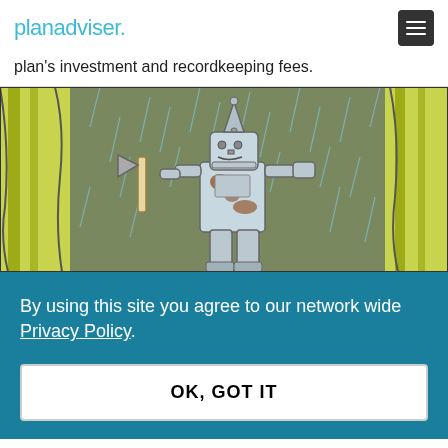planadviser.
plan’s investment and recordkeeping fees.
[Figure (illustration): Illustrated scene of the Tin Man from Wizard of Oz standing in a rainy forest with yellow-green tree trunks, holding an axe, rusted with brown spots, rendered in a stylized comic/animation art style with teal rain streaks.]
By using this site you agree to our network wide Privacy Policy.
OK, GOT IT